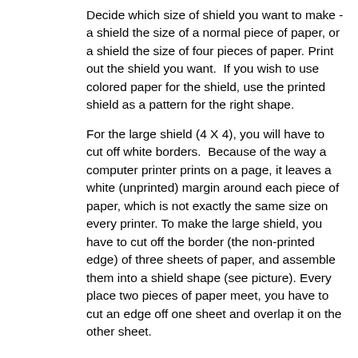Decide which size of shield you want to make - a shield the size of a normal piece of paper, or a shield the size of four pieces of paper. Print out the shield you want.  If you wish to use colored paper for the shield, use the printed shield as a pattern for the right shape.
For the large shield (4 X 4), you will have to cut off white borders.  Because of the way a computer printer prints on a page, it leaves a white (unprinted) margin around each piece of paper, which is not exactly the same size on every printer. To make the large shield, you have to cut off the border (the non-printed edge) of three sheets of paper, and assemble them into a shield shape (see picture). Every place two pieces of paper meet, you have to cut an edge off one sheet and overlap it on the other sheet.
Trim the right side of the sheet of paper that has the upper left hand side of the shield so that the straight black lines meet when you overlap this piece onto the upper right piece.  Cut a straight line down to the bottom of that piece of paper.  There should be no white paper between  the top (straight) lines of the top of the shield. On the